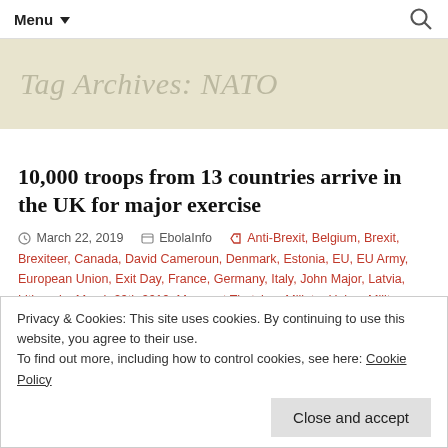Menu ▼  [search icon]
Tag Archives: NATO
10,000 troops from 13 countries arrive in the UK for major exercise
March 22, 2019  EbolaInfo  Anti-Brexit, Belgium, Brexit, Brexiteer, Canada, David Cameroun, Denmark, Estonia, EU, EU Army, European Union, Exit Day, France, Germany, Italy, John Major, Latvia, Lithuania, March 29th 2019, Margaret Thatcher, Miliatry Union, Military
Privacy & Cookies: This site uses cookies. By continuing to use this website, you agree to their use. To find out more, including how to control cookies, see here: Cookie Policy
Close and accept